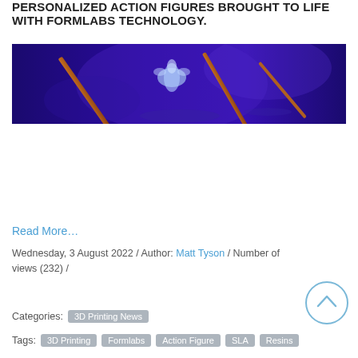PERSONALIZED ACTION FIGURES BROUGHT TO LIFE WITH FORMLABS TECHNOLOGY.
[Figure (photo): Dark blue/purple lit scene showing a 3D printed figure or object with rod-like elements against a blue background]
Read More…
Wednesday, 3 August 2022 / Author: Matt Tyson / Number of views (232) /
Categories: 3D Printing News
Tags: 3D Printing  Formlabs  Action Figure  SLA  Resins